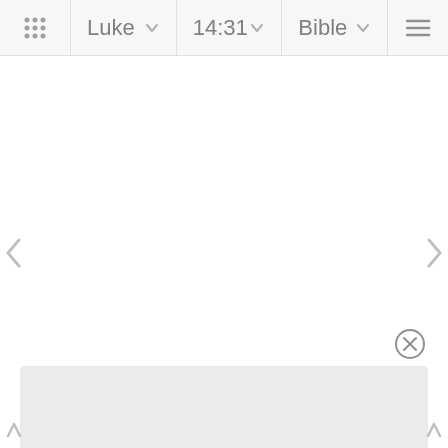Luke 14:31 Bible
[Figure (screenshot): Bible app screenshot showing navigation bar with book selector (Luke), chapter:verse selector (14:31), and Bible version selector (Bible). Large empty white content area with left and right navigation arrows. Bottom popup panel with close (x) button and grey content area partially visible.]